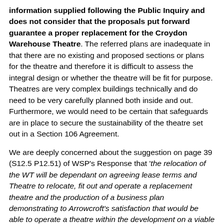information supplied following the Public Inquiry and does not consider that the proposals put forward guarantee a proper replacement for the Croydon Warehouse Theatre. The referred plans are inadequate in that there are no existing and proposed sections or plans for the theatre and therefore it is difficult to assess the integral design or whether the theatre will be fit for purpose. Theatres are very complex buildings technically and do need to be very carefully planned both inside and out. Furthermore, we would need to be certain that safeguards are in place to secure the sustainability of the theatre set out in a Section 106 Agreement.
We are deeply concerned about the suggestion on page 39 (S12.5 P12.51) of WSP's Response that 'the relocation of the WT will be dependant on agreeing lease terms and Theatre to relocate, fit out and operate a replacement theatre and the production of a business plan demonstrating to Arrowcroft's satisfaction that would be able to operate a theatre within the development on a viable basis.' This clause would make the prospect of the Warehouse Theatre moving to new premises virtually impossible.